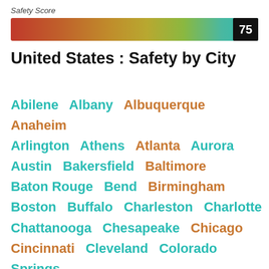Safety Score
[Figure (infographic): A horizontal color gradient bar ranging from red on the left through orange and yellow to teal/green on the right, with a black badge showing the score 75 near the right end.]
United States : Safety by City
Abilene Albany Albuquerque Anaheim Arlington Athens Atlanta Aurora Austin Bakersfield Baltimore Baton Rouge Bend Birmingham Boston Buffalo Charleston Charlotte Chattanooga Chesapeake Chicago Cincinnati Cleveland Colorado Springs Columbia Columbus Corpus Christi Dallas Dayton Denver Des Moines